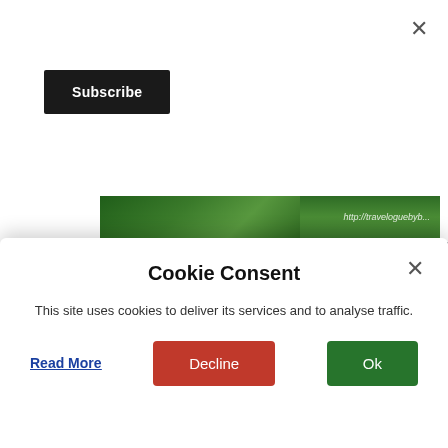[Figure (screenshot): Website screenshot showing a Subscribe button in top left, a green forest image strip, and a YouTube video thumbnail for 'Gregorian Chant at Keizersberg Abbey' with a play button. A cookie consent dialog overlays the bottom portion.]
×
Subscribe
Travelogue by Bhushavali
Gregorian Chant at Keizersberg Abbey in Le
GREGORIAN C
Cookie Consent
This site uses cookies to deliver its services and to analyse traffic.
Read More
Decline
Ok